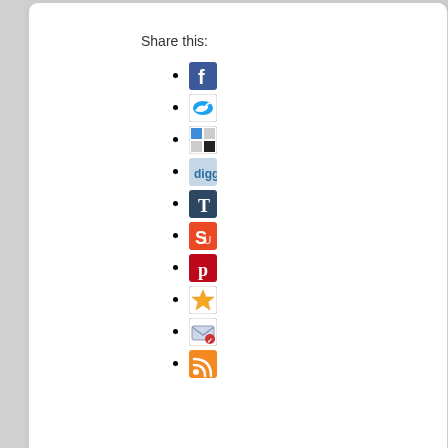Share this:
[Facebook icon]
[Twitter icon]
[Delicious icon]
[Digg icon]
[Tumblr icon]
[StumbleUpon icon]
[Pinterest icon]
[Favorites/Star icon]
[Email icon]
[RSS icon]
Tags: Genomics, health care predictions, Innovation
No Comments »
©2006-20